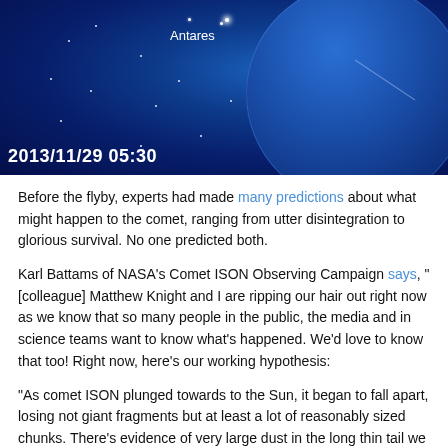[Figure (photo): Blue astronomical image showing a starfield with 'Antares' labeled near a bright star, a large circular blue body (possibly a planet or coronagraph disk) partially visible at lower right, and a timestamp '2013/11/29 05:30' at lower left.]
Before the flyby, experts had made many predictions about what might happen to the comet, ranging from utter disintegration to glorious survival. No one predicted both.
Karl Battams of NASA's Comet ISON Observing Campaign says, "[colleague] Matthew Knight and I are ripping our hair out right now as we know that so many people in the public, the media and in science teams want to know what's happened. We'd love to know that too! Right now, here's our working hypothesis:
"As comet ISON plunged towards to the Sun, it began to fall apart, losing not giant fragments but at least a lot of reasonably sized chunks. There's evidence of very large dust in the long thin tail we saw in the [SOHO coronagraph] images. Then, as ISON plunged through